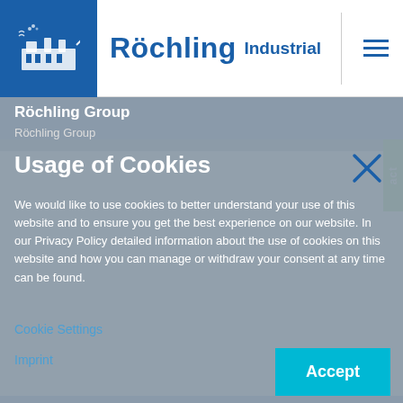[Figure (logo): Röchling Industrial logo with factory icon and text]
Röchling Group
Röchling Group
Usage of Cookies
We would like to use cookies to better understand your use of this website and to ensure you get the best experience on our website. In our Privacy Policy detailed information about the use of cookies on this website and how you can manage or withdraw your consent at any time can be found.
Cookie Settings
Imprint
Accept